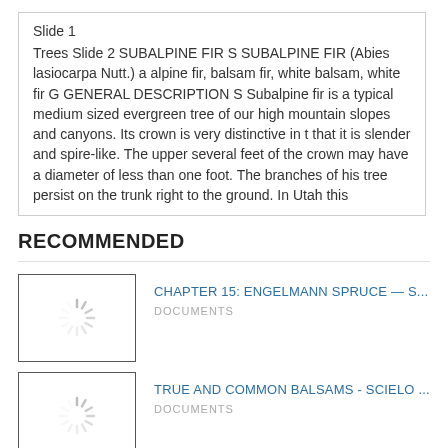Slide 1
Trees Slide 2 SUBALPINE FIR S SUBALPINE FIR (Abies lasiocarpa Nutt.) a alpine fir, balsam fir, white balsam, white fir G GENERAL DESCRIPTION S Subalpine fir is a typical medium sized evergreen tree of our high mountain slopes and canyons. Its crown is very distinctive in t that it is slender and spire-like. The upper several feet of the crown may have a diameter of less than one foot. The branches of his tree persist on the trunk right to the ground. In Utah this
RECOMMENDED
[Figure (screenshot): Loading spinner thumbnail for CHAPTER 15: ENGELMANN SPRUCE recommendation]
CHAPTER 15: ENGELMANN SPRUCE — S...
DOCUMENTS
[Figure (screenshot): Loading spinner thumbnail for TRUE AND COMMON BALSAMS recommendation]
TRUE AND COMMON BALSAMS - SCIELO ...
DOCUMENTS